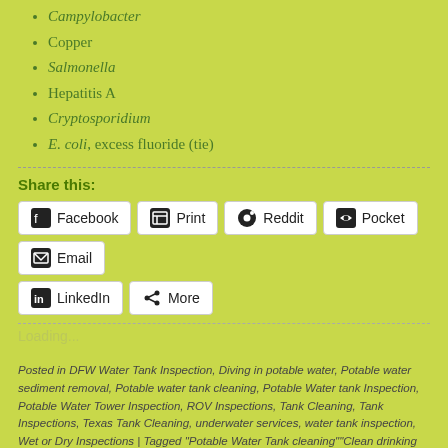Campylobacter
Copper
Salmonella
Hepatitis A
Cryptosporidium
E. coli, excess fluoride (tie)
Share this:
Facebook  Print  Reddit  Pocket  Email  LinkedIn  More
Loading...
Posted in DFW Water Tank Inspection, Diving in potable water, Potable water sediment removal, Potable water tank cleaning, Potable Water tank Inspection, Potable Water Tower Inspection, ROV Inspections, Tank Cleaning, Tank Inspections, Texas Tank Cleaning, underwater services, water tank inspection, Wet or Dry Inspections | Tagged "Potable Water Tank cleaning""Clean drinking water""con, Arkansas potable water